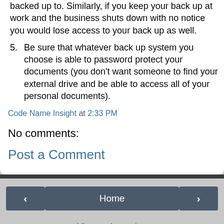backed up to. Similarly, if you keep your back up at work and the business shuts down with no notice you would lose access to your back up as well.
5. Be sure that whatever back up system you choose is able to password protect your documents (you don't want someone to find your external drive and be able to access all of your personal documents).
Code Name Insight at 2:33 PM
No comments:
Post a Comment
Home | View web version | Powered by Blogger.